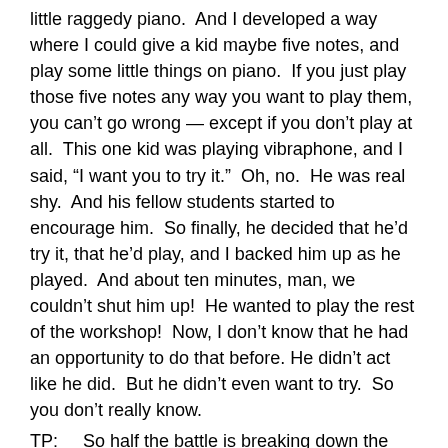little raggedy piano.  And I developed a way where I could give a kid maybe five notes, and play some little things on piano.  If you just play those five notes any way you want to play them, you can't go wrong — except if you don't play at all.  This one kid was playing vibraphone, and I said, “I want you to try it.”  Oh, no.  He was real shy.  And his fellow students started to encourage him.  So finally, he decided that he’d try it, that he’d play, and I backed him up as he played.  And about ten minutes, man, we couldn’t shut him up!  He wanted to play the rest of the workshop!  Now, I don’t know that he had an opportunity to do that before. He didn’t act like he did.  But he didn’t even want to try.  So you don’t really know.
TP:    So half the battle is breaking down the resistance to trying.
MARSALIS:  Well, if it’s in the personality.  There was a